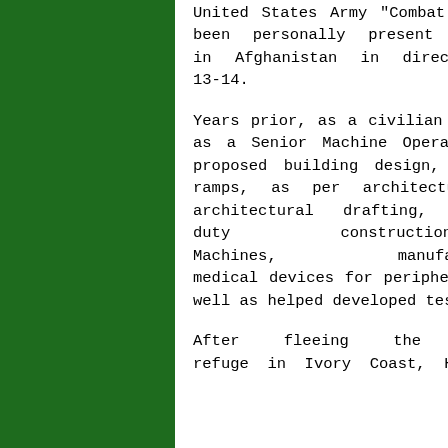United States Army "Combat Action Badge" for combat actions, having been personally present and under direct hostile enemy fire in Afghanistan in direct support of Operation Enduring Freedom 13-14.
Years prior, as a civilian in the Unites States, Hon. Vincent served as a Senior Machine Operator. He produced precast concrete for a proposed building design, construction of underground parking and ramps, as per architectural design, he read and implemented architectural drafting, and operated heavy-duty construction equipment. Hon. Vincent operated Laser Machines, manufactured and distributed/shipped medical devices for peripheral vascular and neurovascular diseases as well as helped developed testing procedures for quality assurance.
After fleeing the war in Liberia and seeking refuge in Ivory Coast, Hon. Vincent